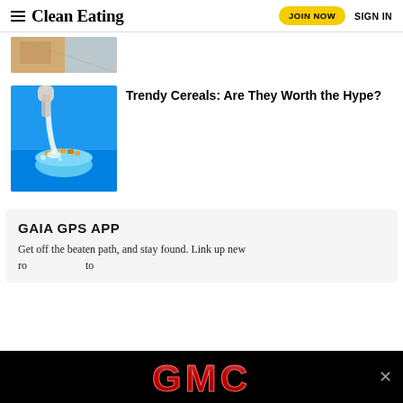Clean Eating — JOIN NOW  SIGN IN
[Figure (photo): Partial view of a food photo, cropped at top of page]
[Figure (photo): Bowl of cereal with milk being poured in, on a blue background]
Trendy Cereals: Are They Worth the Hype?
GAIA GPS APP
Get off the beaten path, and stay found. Link up new ro... to...
[Figure (logo): GMC logo advertisement banner in red on black background]